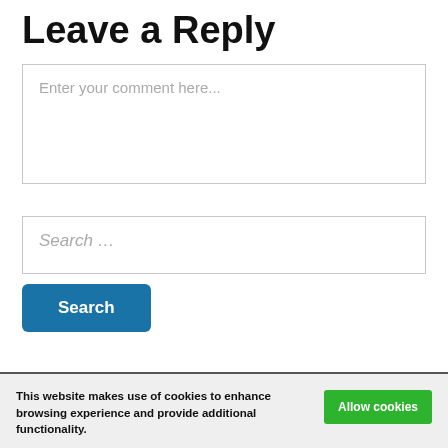Leave a Reply
Enter your comment here...
Search …
Search
This website makes use of cookies to enhance browsing experience and provide additional functionality.
Allow cookies